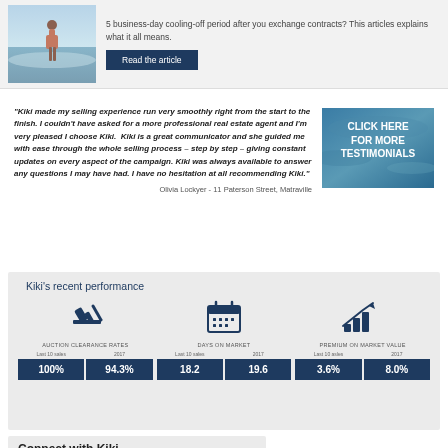[Figure (photo): Person walking on beach/shoreline]
5 business-day cooling-off period after you exchange contracts? This articles explains what it all means.
Read the article
"Kiki made my selling experience run very smoothly right from the start to the finish. I couldn't have asked for a more professional real estate agent and I'm very pleased I choose Kiki. Kiki is a great communicator and she guided me with ease through the whole selling process – step by step – giving constant updates on every aspect of the campaign. Kiki was always available to answer any questions I may have had. I have no hesitation at all recommending Kiki."
Olivia Lockyer - 11 Paterson Street, Matraville
[Figure (other): Click here for more testimonials button with ocean background]
Kiki's recent performance
[Figure (infographic): Auction clearance rates icon (gavel), Days on market icon (calendar), Premium on market value icon (bar chart with arrow)]
|  | Last 10 sales | 2017 | Last 10 sales | 2017 | Last 10 asles | 2017 |
| --- | --- | --- | --- | --- | --- | --- |
| AUCTION CLEARANCE RATES | 100% | 94.3% | 18.2 | 19.6 | 3.6% | 8.0% |
Connect with Kiki
[Figure (other): Facebook button]